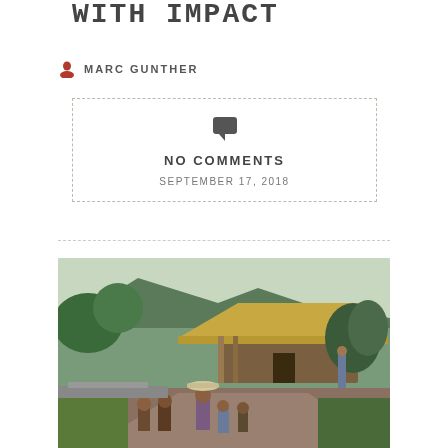WITH IMPACT
MARC GUNTHER
NO COMMENTS
SEPTEMBER 17, 2018
[Figure (photo): A group of African children standing in front of a thatched mud-brick hut on a rural hillside. One child balances a large basin on their head. An adult stands in the background. Lush green vegetation visible on the hillside.]